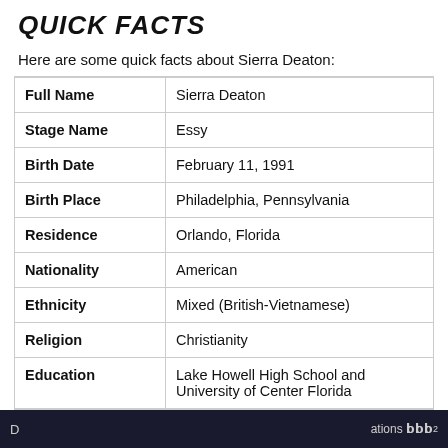QUICK FACTS
Here are some quick facts about Sierra Deaton:
|  |  |
| --- | --- |
| Full Name | Sierra Deaton |
| Stage Name | Essy |
| Birth Date | February 11, 1991 |
| Birth Place | Philadelphia, Pennsylvania |
| Residence | Orlando, Florida |
| Nationality | American |
| Ethnicity | Mixed (British-Vietnamese) |
| Religion | Christianity |
| Education | Lake Howell High School and University of Center Florida |
D   ations